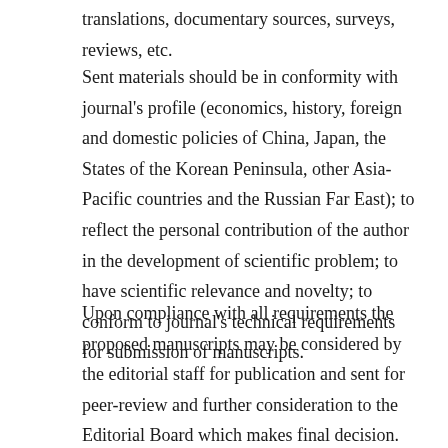translations, documentary sources, surveys, reviews, etc.
Sent materials should be in conformity with journal's profile (economics, history, foreign and domestic policies of China, Japan, the States of the Korean Peninsula, other Asia-Pacific countries and the Russian Far East); to reflect the personal contribution of the author in the development of scientific problem; to have scientific relevance and novelty; to conform to journal's technical requirements for submission of manuscripts.
Upon compliance with all requirements the proposed manuscripts may be considered by the editorial staff for publication and sent for peer-review and further consideration to the Editorial Board which makes final decision.